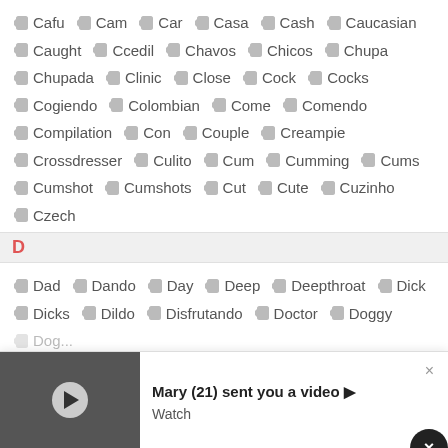Cafu Cam Car Casa Cash Caucasian
Caught Ccedil Chavos Chicos Chupa
Chupada Clinic Close Cock Cocks
Cogiendo Colombian Come Comendo
Compilation Con Couple Creampie
Crossdresser Culito Cum Cumming Cums
Cumshot Cumshots Cut Cute Cuzinho
Czech
D
Dad Dando Day Deep Deepthroat Dick
Dicks Dildo Disfrutando Doctor Doggy
Dog...
[Figure (screenshot): Overlay notification bar: thumbnail of video on left, text 'Mary (21) sent you a video ▶ Watch' in center, × close button on right]